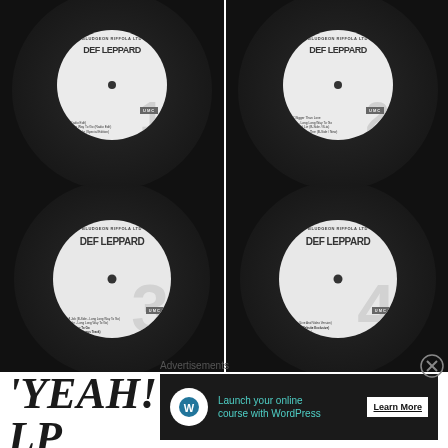[Figure (photo): Four vinyl record label images for Def Leppard releases (2 top, 2 bottom). White circular labels with 'DEF LEPPARD' text, UMC branding, disc numbers 3 and 4, tracklisting text on each.]
'YEAH! II' – BONUS LP (2021):
Advertisements
[Figure (infographic): Advertisement banner: dark background with WordPress logo icon, teal text 'Launch your online course with WordPress', white 'Learn More' button.]